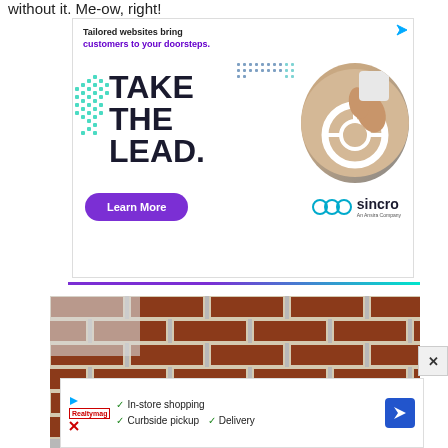without it. Me-ow, right!
[Figure (screenshot): Advertisement for Sincro: 'Tailored websites bring customers to your doorsteps. TAKE THE LEAD.' with Learn More button and circular photo of person driving a car.]
[Figure (photo): Brick wall photograph, partial view.]
[Figure (screenshot): Bottom banner advertisement showing In-store shopping, Curbside pickup, and Delivery checkmarks with navigation arrow icon.]